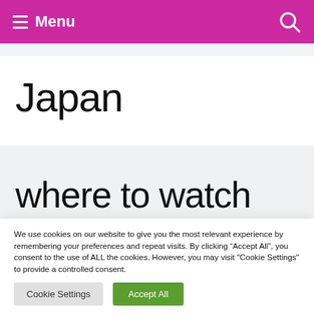Menu
Japan
where to watch
We use cookies on our website to give you the most relevant experience by remembering your preferences and repeat visits. By clicking “Accept All”, you consent to the use of ALL the cookies. However, you may visit "Cookie Settings" to provide a controlled consent.